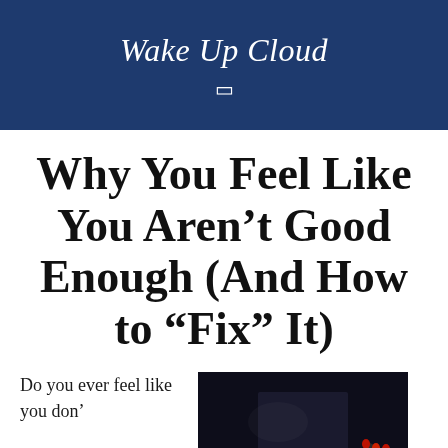Wake Up Cloud
Why You Feel Like You Aren't Good Enough (And How to “Fix” It)
Do you ever feel like you don’t
[Figure (photo): Dark background photo showing a hand with red fingernails]